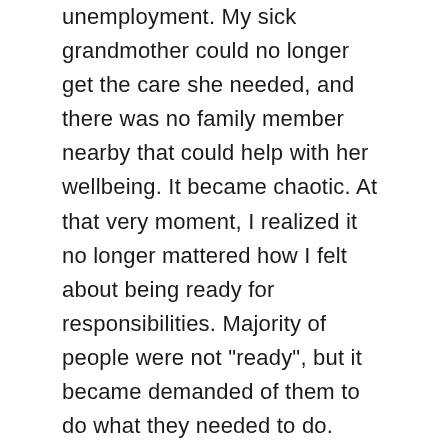unemployment. My sick grandmother could no longer get the care she needed, and there was no family member nearby that could help with her wellbeing. It became chaotic. At that very moment, I realized it no longer mattered how I felt about being ready for responsibilities. Majority of people were not "ready", but it became demanded of them to do what they needed to do. Ready or not, I needed to do what I needed to do. After being with myself in silence and calming my nerves, I realized that there were people who needed me to be there to help them, people that I love and care about. I was scared at first to take on such a big burden. I'm a full time student taking more credits than normal, I took up a full time job in order to make sure I took care of my parent, my grandmother, and myself, and I also needed to move out of the home I grew up into a whole other town in order to take care of my grandmother. In all honesty, I